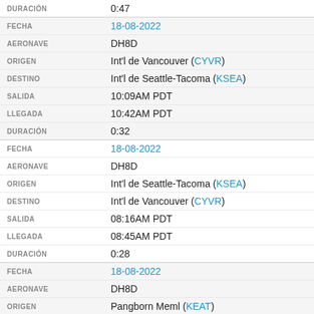| Label | Value |
| --- | --- |
| DURACIÓN | 0:47 |
| FECHA | 18-08-2022 |
| AERONAVE | DH8D |
| ORIGEN | Int'l de Vancouver (CYVR) |
| DESTINO | Int'l de Seattle-Tacoma (KSEA) |
| SALIDA | 10:09AM PDT |
| LLEGADA | 10:42AM PDT |
| DURACIÓN | 0:32 |
| FECHA | 18-08-2022 |
| AERONAVE | DH8D |
| ORIGEN | Int'l de Seattle-Tacoma (KSEA) |
| DESTINO | Int'l de Vancouver (CYVR) |
| SALIDA | 08:16AM PDT |
| LLEGADA | 08:45AM PDT |
| DURACIÓN | 0:28 |
| FECHA | 18-08-2022 |
| AERONAVE | DH8D |
| ORIGEN | Pangborn Meml (KEAT) |
| DESTINO | Int'l de Seattle-Tacoma (KSEA) |
| SALIDA | 05:56AM PDT |
| LLEGADA | 06:26AM PDT |